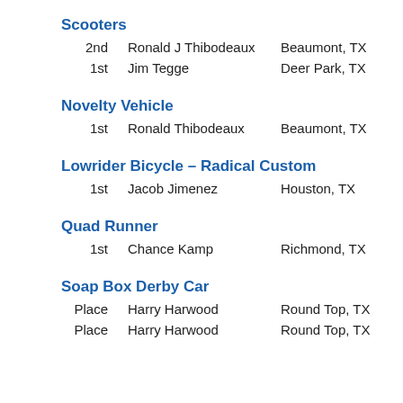Scooters
2nd   Ronald J Thibodeaux   Beaumont, TX   1
1st   Jim Tegge   Deer Park, TX   1
Novelty Vehicle
1st   Ronald Thibodeaux   Beaumont, TX   2
Lowrider Bicycle – Radical Custom
1st   Jacob Jimenez   Houston, TX   L
Quad Runner
1st   Chance Kamp   Richmond, TX   2
Soap Box Derby Car
Place   Harry Harwood   Round Top, TX   S
Place   Harry Harwood   Round Top, TX   S